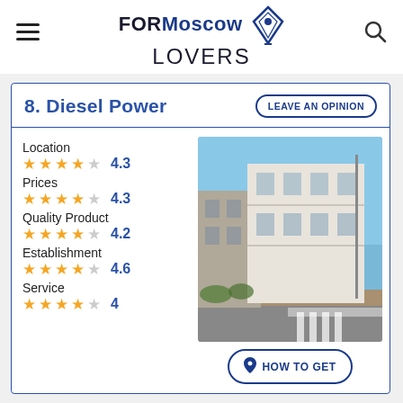FOR Moscow LOVERS
8. Diesel Power
LEAVE AN OPINION
Location 4.3
Prices 4.3
Quality Product 4.2
Establishment 4.6
Service 4
[Figure (photo): Street view photo of a white multi-story building at an intersection, with blue sky visible]
HOW TO GET